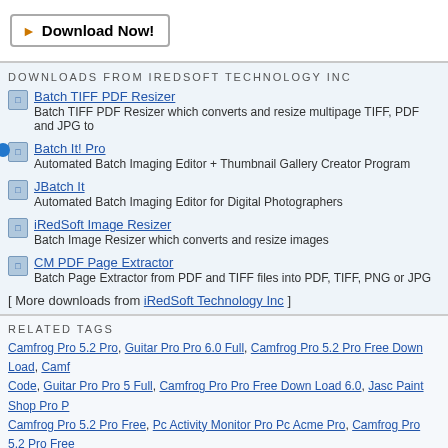[Figure (other): Download Now! button with orange arrow icon and bordered rectangle]
DOWNLOADS FROM IREDSOFT TECHNOLOGY INC
Batch TIFF PDF Resizer — Batch TIFF PDF Resizer which converts and resize multipage TIFF, PDF and JPG to
Batch It! Pro — Automated Batch Imaging Editor + Thumbnail Gallery Creator Program
JBatch It — Automated Batch Imaging Editor for Digital Photographers
iRedSoft Image Resizer — Batch Image Resizer which converts and resize images
CM PDF Page Extractor — Batch Page Extractor from PDF and TIFF files into PDF, TIFF, PNG or JPG
[ More downloads from iRedSoft Technology Inc ]
RELATED TAGS
Camfrog Pro 5.2 Pro, Guitar Pro Pro 6.0 Full, Camfrog Pro 5.2 Pro Free Down Load, Camf... Code, Guitar Pro Pro 5 Full, Camfrog Pro Pro Free Down Load 6.0, Jasc Paint Shop Pro P... Camfrog Pro 5.2 Pro Free, Pc Activity Monitor Pro Pc Acme Pro, Camfrog Pro 5.2 Pro Free...
Audio : Games : Desktop : Business : Internet : Multimedia : Software Developer : Utilities : Web Deve... © 2002-2020 TopShareware.com. Legal Disclaimer | Privacy Policy